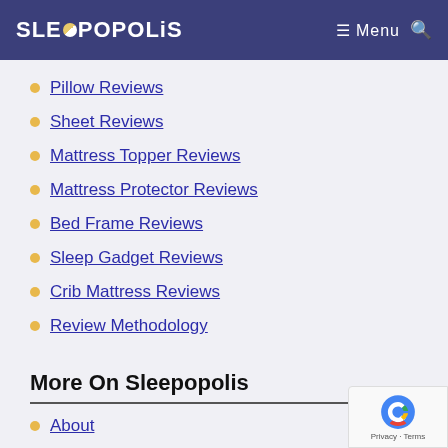SLEEPOPOLIS  Menu
Pillow Reviews
Sheet Reviews
Mattress Topper Reviews
Mattress Protector Reviews
Bed Frame Reviews
Sleep Gadget Reviews
Crib Mattress Reviews
Review Methodology
More On Sleepopolis
About